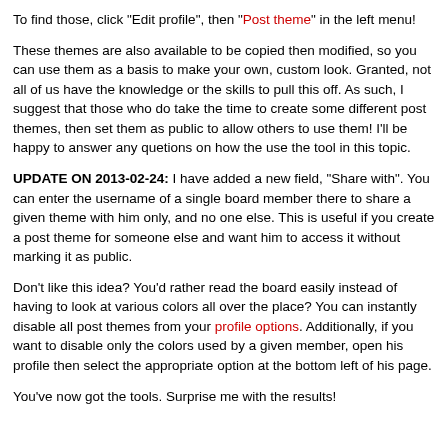To find those, click "Edit profile", then "Post theme" in the left menu!
These themes are also available to be copied then modified, so you can use them as a basis to make your own, custom look. Granted, not all of us have the knowledge or the skills to pull this off. As such, I suggest that those who do take the time to create some different post themes, then set them as public to allow others to use them! I'll be happy to answer any quetions on how the use the tool in this topic.
UPDATE ON 2013-02-24: I have added a new field, "Share with". You can enter the username of a single board member there to share a given theme with him only, and no one else. This is useful if you create a post theme for someone else and want him to access it without marking it as public.
Don't like this idea? You'd rather read the board easily instead of having to look at various colors all over the place? You can instantly disable all post themes from your profile options. Additionally, if you want to disable only the colors used by a given member, open his profile then select the appropriate option at the bottom left of his page.
You've now got the tools. Surprise me with the results!